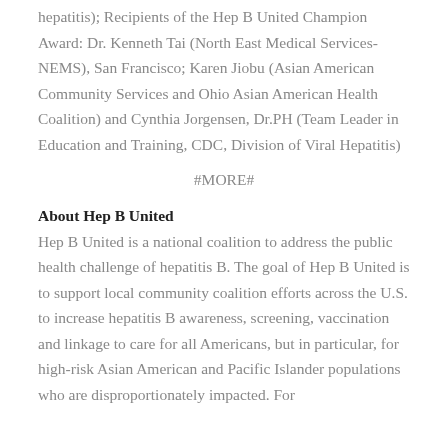hepatitis);  Recipients of the Hep B United Champion Award: Dr. Kenneth Tai (North East Medical Services-NEMS), San Francisco; Karen Jiobu (Asian American Community Services and Ohio Asian American Health Coalition) and Cynthia Jorgensen, Dr.PH (Team Leader in Education and Training, CDC, Division of Viral Hepatitis)
#MORE#
About Hep B United
Hep B United is a national coalition to address the public health challenge of hepatitis B. The goal of Hep B United is to support local community coalition efforts across the U.S. to increase hepatitis B awareness, screening, vaccination and linkage to care for all Americans, but in particular, for high-risk Asian American and Pacific Islander populations who are disproportionately impacted. For